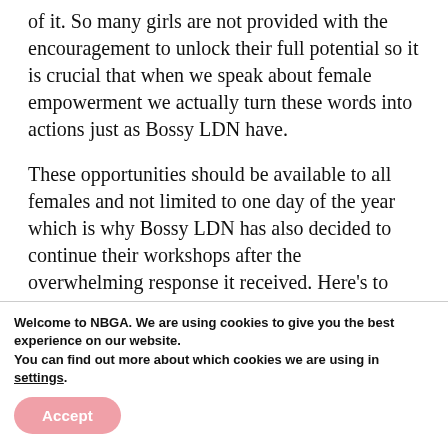of it. So many girls are not provided with the encouragement to unlock their full potential so it is crucial that when we speak about female empowerment we actually turn these words into actions just as Bossy LDN have.
These opportunities should be available to all females and not limited to one day of the year which is why Bossy LDN has also decided to continue their workshops after the overwhelming response it received. Here’s to even more acts of women uplifting women in 2019 and beyond!
Welcome to NBGA. We are using cookies to give you the best experience on our website.
You can find out more about which cookies we are using in settings.
Accept